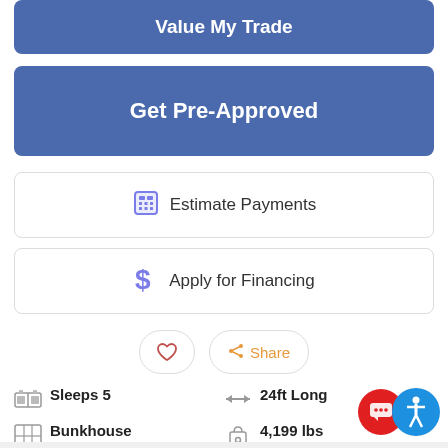Value My Trade
Get Pre-Approved
Estimate Payments
Apply for Financing
[Figure (other): Heart (favorite) icon button and Share button with share icon]
Sleeps 5
Bunkhouse Murphy Bed
24ft Long
4,199 lbs